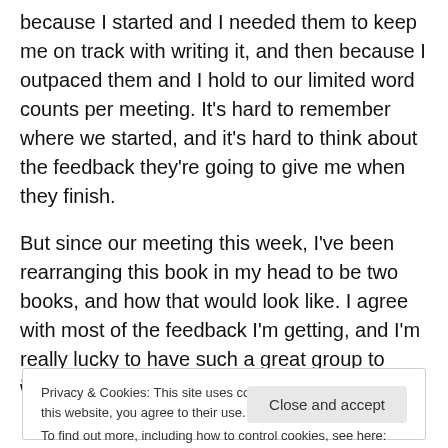because I started and I needed them to keep me on track with writing it, and then because I outpaced them and I hold to our limited word counts per meeting. It's hard to remember where we started, and it's hard to think about the feedback they're going to give me when they finish.
But since our meeting this week, I've been rearranging this book in my head to be two books, and how that would look like. I agree with most of the feedback I'm getting, and I'm really lucky to have such a great group to work with.
Sometimes the loop...
Privacy & Cookies: This site uses cookies. By continuing to use this website, you agree to their use.
To find out more, including how to control cookies, see here: Cookie Policy